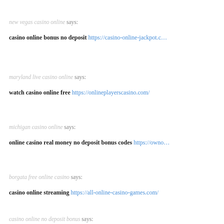new vegas casino online says:
casino online bonus no deposit https://casino-online-jackpot.c…
maryland live casino online says:
watch casino online free https://onlineplayerscasino.com/
michigan casino online says:
online casino real money no deposit bonus codes https://owno…
borgata free online casino says:
casino online streaming https://all-online-casino-games.com/
casino online no deposit bonus says:
online casino real money usa https://casinoonline…